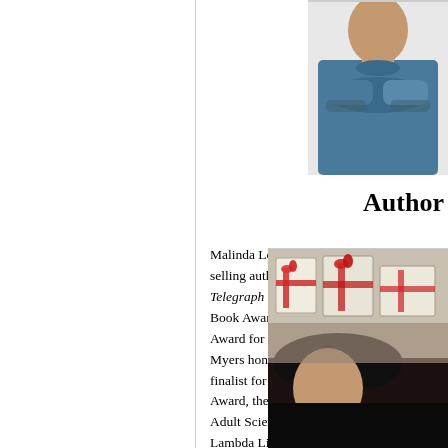[Figure (photo): Partial photo of a person with arms crossed, wearing a dark blue/teal top, cropped at top-right of page]
Author
Malinda Lo is the New York Times bestselling author of Last Night at the Telegraph Club, winner of the National Book Award, the Asian/Pacific American Award for Literature, and the Walter Dean Myers honors. Her debut novel Ash was a finalist for the William C. Morris YA Debut Award, the Andre Norton Award for Young Adult Science Fiction and Fantasy, and the Lambda Literary Award. Follow her on Twitter, Instagram, or visit her website.
[Figure (photo): Partial photo of a person with gift boxes/wrapped presents visible in background, cropped at bottom-right of page]